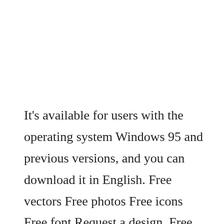It's available for users with the operating system Windows 95 and previous versions, and you can download it in English. Free vectors Free photos Free icons Free font Request a design. Free download best Latest 3D HD desktop wallpapers background, Wide screen Most Popular Images in high quality